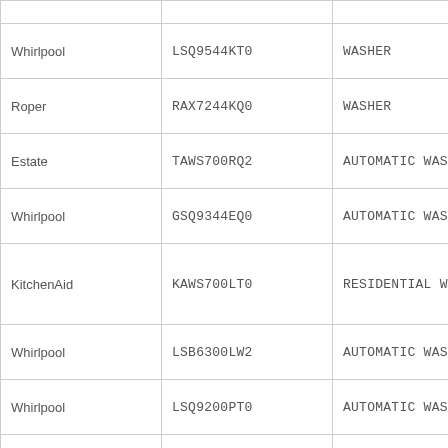|  |  |  |
| Whirlpool | LSQ9544KT0 | WASHER |
| Roper | RAX7244KQ0 | WASHER |
| Estate | TAWS700RQ2 | AUTOMATIC WASHER |
| Whirlpool | GSQ9344EQ0 | AUTOMATIC WASHER |
| KitchenAid | KAWS700LT0 | RESIDENTIAL WASHERS |
| Whirlpool | LSB6300LW2 | AUTOMATIC WASHER |
| Whirlpool | LSQ9200PT0 | AUTOMATIC WASHER |
|  |  | WASHER - DIRECT... |